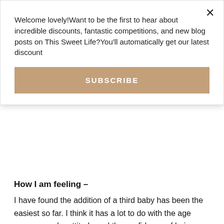Welcome lovely!Want to be the first to hear about incredible discounts, fantastic competitions, and new blog posts on This Sweet Life?You'll automatically get our latest discount
SUBSCRIBE
How I am feeling –
I have found the addition of a third baby has been the easiest so far. I think it has a lot to do with the age gaps, my calm attitude and the confidence of being a third time Mother. You have to remember that I have been doing this for five years now and it is my third time around. I was so desperate to have a third baby that even if I wanted to complain I don't think that I could. I have so much gratitude for the fact that she is in my life and I appreciate everything,